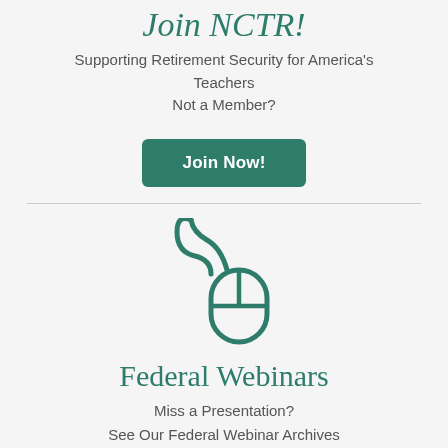Join NCTR!
Supporting Retirement Security for America's Teachers
Not a Member?
Join Now!
[Figure (illustration): Icon of a computer mouse with a cord, rendered in teal/dark green outline style]
Federal Webinars
Miss a Presentation?
See Our Federal Webinar Archives